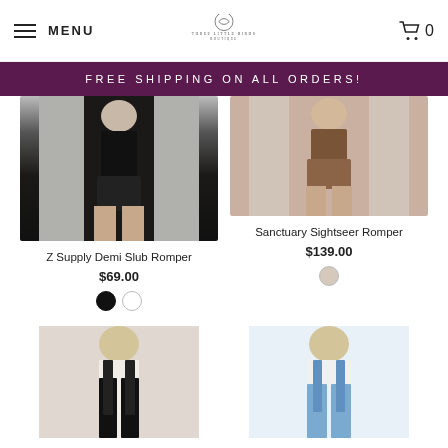MENU | Three Little Birds Boutique | 0
FREE SHIPPING ON ALL ORDERS!
[Figure (photo): Woman wearing black Z Supply Demi Slub Romper]
Z Supply Demi Slub Romper
$69.00
[Figure (photo): Woman wearing brown Sanctuary Sightseer Romper]
Sanctuary Sightseer Romper
$139.00
[Figure (photo): Woman wearing black overalls/dungarees]
[Figure (photo): Woman wearing denim overalls/dungarees]